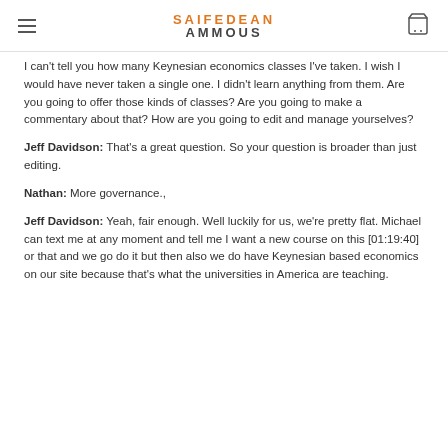SAIFEDEAN AMMOUS
I can't tell you how many Keynesian economics classes I've taken. I wish I would have never taken a single one. I didn't learn anything from them. Are you going to offer those kinds of classes? Are you going to make a commentary about that? How are you going to edit and manage yourselves?
Jeff Davidson: That's a great question. So your question is broader than just editing.
Nathan: More governance.,
Jeff Davidson: Yeah, fair enough. Well luckily for us, we're pretty flat. Michael can text me at any moment and tell me I want a new course on this [01:19:40] or that and we go do it but then also we do have Keynesian based economics on our site because that's what the universities in America are teaching.